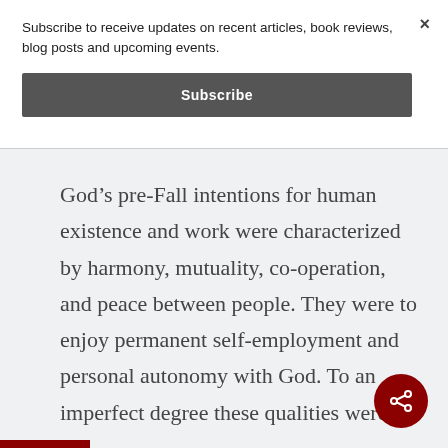Subscribe to receive updates on recent articles, book reviews, blog posts and upcoming events.
Subscribe
God’s pre-Fall intentions for human existence and work were characterized by harmony, mutuality, co-operation, and peace between people. They were to enjoy permanent self-employment and personal autonomy with God. To an imperfect degree these qualities were